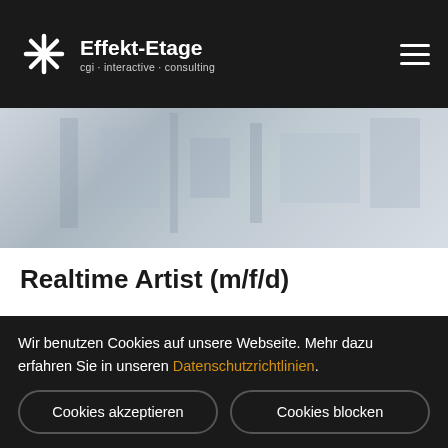Effekt-Etage cgi · interactive · consulting
[Figure (photo): Blurred office/studio background showing a bright workspace with whiteboards and papers]
Realtime Artist (m/f/d)
We are looking for you!
Wir benutzen Cookies auf unsere Webseite. Mehr dazu erfahren Sie in unseren Datenschutzrichtlinien.
Cookies akzeptieren | Cookies blocken